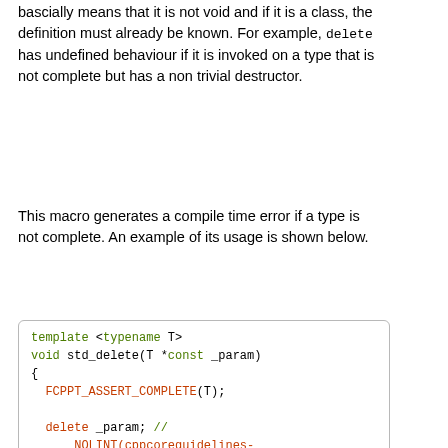bascially means that it is not void and if it is a class, the definition must already be known. For example, delete has undefined behaviour if it is invoked on a type that is not complete but has a non trivial destructor.
This macro generates a compile time error if a type is not complete. An example of its usage is shown below.
[Figure (other): Code block showing template function std_delete using FCPPT_ASSERT_COMPLETE macro]
FCPPT_CHAR_LITERAL
[Figure (other): Define box showing #define FCPPT_CHAR_LITERAL ( _type, _literal )]
Value: